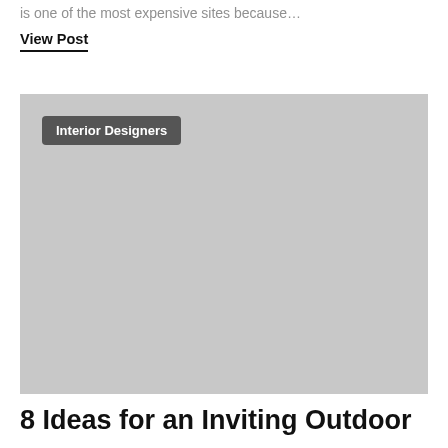is one of the most expensive sites because…
View Post
[Figure (photo): Large gray placeholder image with a dark gray badge labeled 'Interior Designers' in the upper left corner]
8 Ideas for an Inviting Outdoor